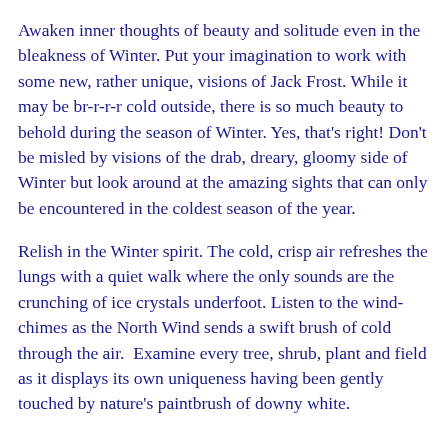Awaken inner thoughts of beauty and solitude even in the bleakness of Winter. Put your imagination to work with some new, rather unique, visions of Jack Frost. While it may be br-r-r-r cold outside, there is so much beauty to behold during the season of Winter. Yes, that's right! Don't be misled by visions of the drab, dreary, gloomy side of Winter but look around at the amazing sights that can only be encountered in the coldest season of the year.
Relish in the Winter spirit. The cold, crisp air refreshes the lungs with a quiet walk where the only sounds are the crunching of ice crystals underfoot. Listen to the wind-chimes as the North Wind sends a swift brush of cold through the air.  Examine every tree, shrub, plant and field as it displays its own uniqueness having been gently touched by nature's paintbrush of downy white.